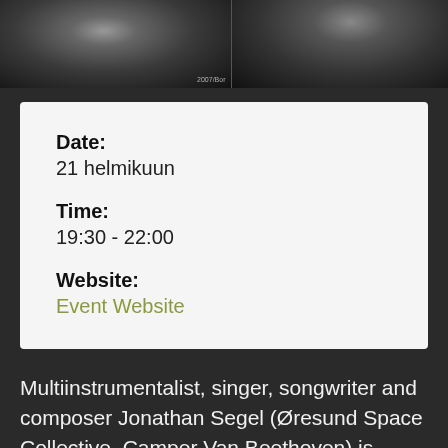[Figure (photo): Black and white photo strip showing two musicians, left side appears to show a person with a guitar or instrument, right side shows drum equipment]
Date:
21 helmikuun
Time:
19:30 - 22:00
Website:
Event Website
Multiinstrumentalist, singer, songwriter and composer Jonathan Segel (Øresund Space Collective, Camper Van Beethoven) is headlining concert the Gulf of Both...